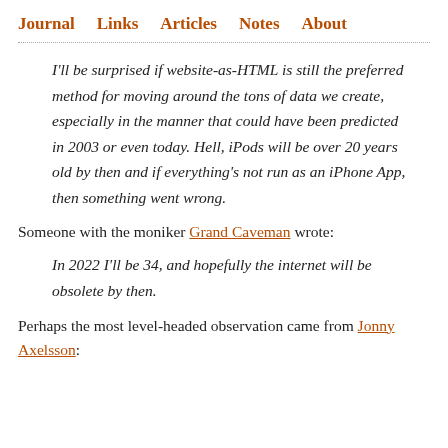Journal   Links   Articles   Notes   About
I'll be surprised if website-as-HTML is still the preferred method for moving around the tons of data we create, especially in the manner that could have been predicted in 2003 or even today. Hell, iPods will be over 20 years old by then and if everything's not run as an iPhone App, then something went wrong.
Someone with the moniker Grand Caveman wrote:
In 2022 I'll be 34, and hopefully the internet will be obsolete by then.
Perhaps the most level-headed observation came from Jonny Axelsson: